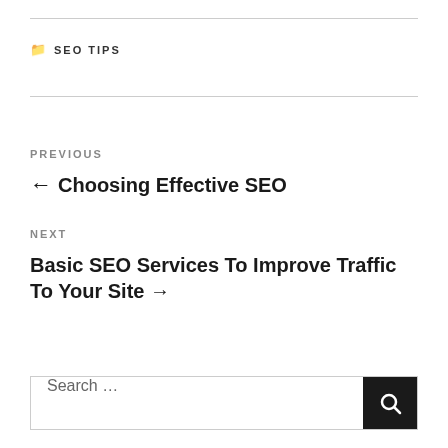SEO TIPS
PREVIOUS
← Choosing Effective SEO
NEXT
Basic SEO Services To Improve Traffic To Your Site →